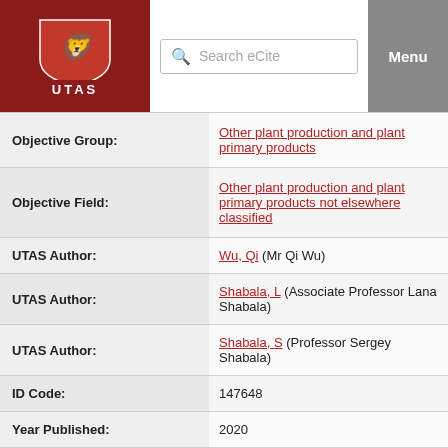UTAS eCite header with logo, search bar, and Menu button
| Field | Value |
| --- | --- |
| Objective Group: | Other plant production and plant primary products |
| Objective Field: | Other plant production and plant primary products not elsewhere classified |
| UTAS Author: | Wu, Qi (Mr Qi Wu) |
| UTAS Author: | Shabala, L (Associate Professor Lana Shabala) |
| UTAS Author: | Shabala, S (Professor Sergey Shabala) |
| ID Code: | 147648 |
| Year Published: | 2020 |
| Web of Science® Times Cited: | 7 |